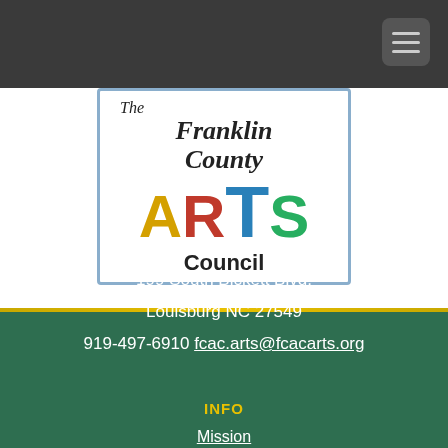County.
Click Here
[Figure (logo): The Franklin County ARTS Council logo: white background with yellow-bordered rectangle. 'The' in italic, 'Franklin County' in italic bold, 'ARTS' in large colored letters (A=yellow, R=red, T=blue, S=green), 'Council' in bold black.]
199 South Bickett Blvd.
Louisburg NC 27549
919-497-6910 fcac.arts@fcacarts.org
INFO
Mission